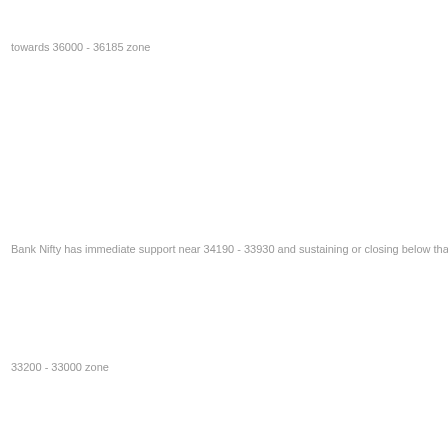towards 36000 - 36185 zone
Bank Nifty has immediate support near 34190 - 33930 and sustaining or closing below that we can see a mov
33200 - 33000 zone